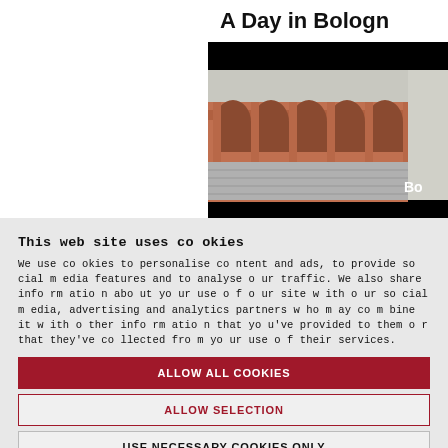A Day in Bologna
[Figure (photo): Partial view of Bologna's historic porticoes with red-brick arched buildings and cobblestone street. Label 'Bo' visible in bottom-right corner.]
This website uses cookies
We use cookies to personalise content and ads, to provide social media features and to analyse our traffic. We also share information about your use of our site with our social media, advertising and analytics partners who may combine it with other information that you've provided to them or that they've collected from your use of their services.
ALLOW ALL COOKIES
ALLOW SELECTION
USE NECESSARY COOKIES ONLY